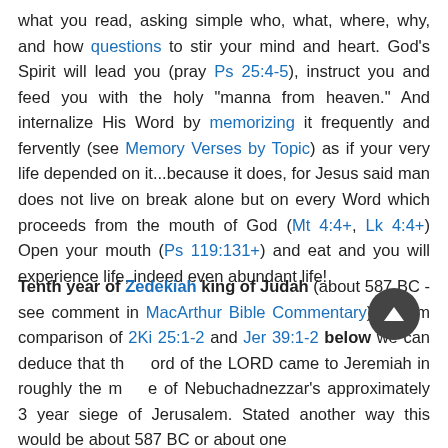what you read, asking simple who, what, where, why, and how questions to stir your mind and heart. God's Spirit will lead you (pray Ps 25:4-5), instruct you and feed you with the holy "manna from heaven." And internalize His Word by memorizing it frequently and fervently (see Memory Verses by Topic) as if your very life depended on it...because it does, for Jesus said man does not live on break alone but on every Word which proceeds from the mouth of God (Mt 4:4+, Lk 4:4+) Open your mouth (Ps 119:131+) and eat and you will experience life, indeed even abundant life!
Tenth year of Zedekiah king of Judah (about 587 BC - see comment in MacArthur Bible Commentary) - From comparison of 2Ki 25:1-2 and Jer 39:1-2 below we can deduce that the word of the LORD came to Jeremiah in roughly the middle of Nebuchadnezzar's approximately 3 year siege of Jerusalem. Stated another way this would be about 587 BC or about one